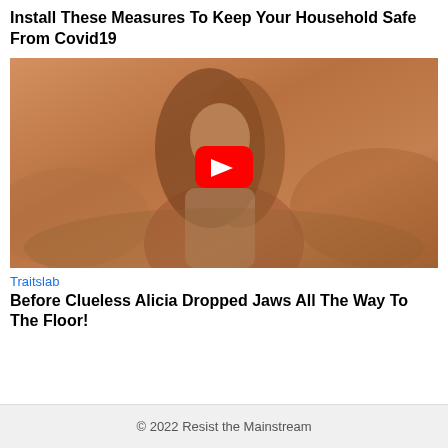Install These Measures To Keep Your Household Safe From Covid19
[Figure (screenshot): Video thumbnail showing a young woman with long auburn hair leaning forward outdoors in a desert/dry landscape setting, with a red YouTube play button overlay in the center.]
Traitslab
Before Clueless Alicia Dropped Jaws All The Way To The Floor!
© 2022 Resist the Mainstream